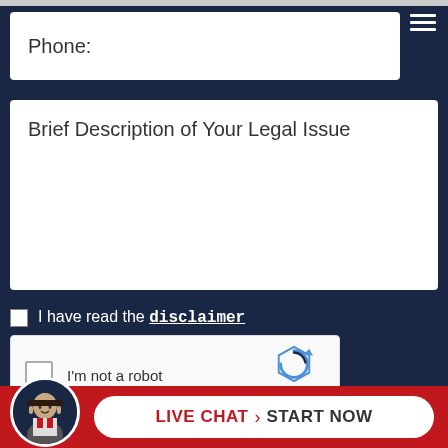Phone:
Brief Description of Your Legal Issue
I have read the disclaimer
[Figure (screenshot): reCAPTCHA widget with checkbox labeled I'm not a robot and reCAPTCHA logo with Privacy and Terms links]
LIVE CHAT › START NOW